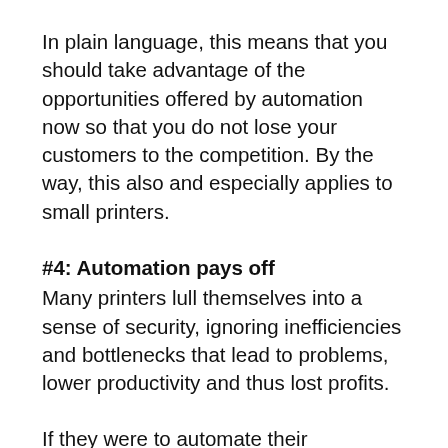In plain language, this means that you should take advantage of the opportunities offered by automation now so that you do not lose your customers to the competition. By the way, this also and especially applies to small printers.
#4: Automation pays off
Many printers lull themselves into a sense of security, ignoring inefficiencies and bottlenecks that lead to problems, lower productivity and thus lost profits.
If they were to automate their processes as much as possible, they can benefit almost